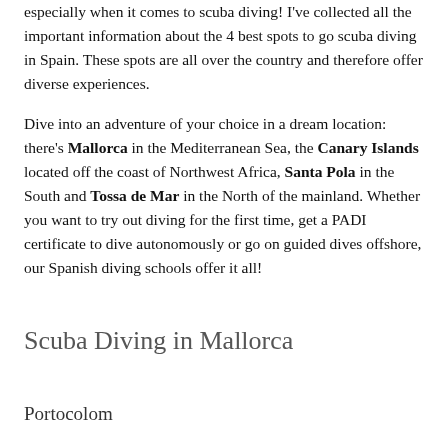especially when it comes to scuba diving! I've collected all the important information about the 4 best spots to go scuba diving in Spain. These spots are all over the country and therefore offer diverse experiences.
Dive into an adventure of your choice in a dream location: there's Mallorca in the Mediterranean Sea, the Canary Islands located off the coast of Northwest Africa, Santa Pola in the South and Tossa de Mar in the North of the mainland. Whether you want to try out diving for the first time, get a PADI certificate to dive autonomously or go on guided dives offshore, our Spanish diving schools offer it all!
Scuba Diving in Mallorca
Portocolom